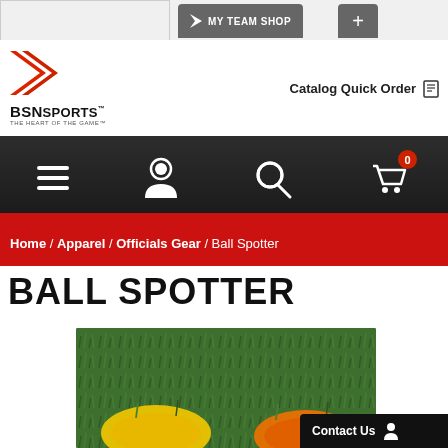[Figure (screenshot): BSN Sports website screenshot showing navigation bar with My Team Shop button and plus button]
[Figure (logo): BSN Sports logo with red arrow/chevron graphic, bold BSN SPORTS text, and tagline THE HEART OF THE GAME]
Catalog Quick Order
[Figure (screenshot): Dark navigation icon bar with hamburger menu, user profile, search magnifier, and shopping cart with 0 badge icons]
Home / Apparel / Officials Gear / Ball Spotter
BALL SPOTTER
[Figure (photo): Close-up photo of ball spotters (yellow and orange) on green grass field]
Contact Us